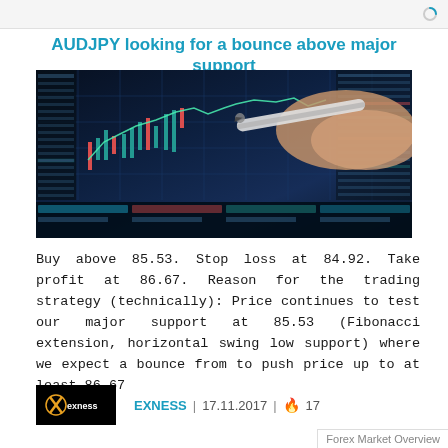AUDJPY looking for a bounce above major support
[Figure (photo): A hand holding a pen pointing at a financial trading screen showing candlestick charts and data tables with price information.]
Buy above 85.53. Stop loss at 84.92. Take profit at 86.67. Reason for the trading strategy (technically): Price continues to test our major support at 85.53 (Fibonacci extension, horizontal swing low support) where we expect a bounce from to push price up to at least 86.67
EXNESS | 17.11.2017 | 🔥 17